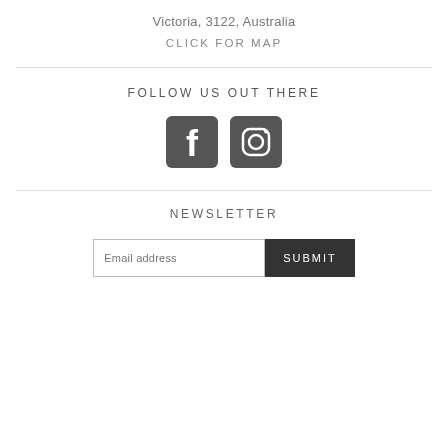Victoria, 3122, Australia
CLICK FOR MAP
FOLLOW US OUT THERE
[Figure (other): Facebook and Instagram social media icons (rounded square icons in dark grey)]
NEWSLETTER
Email address
SUBMIT